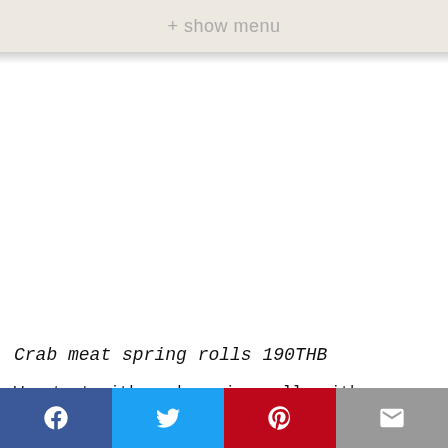+ show menu
Crab meat spring rolls 190THB
We start with crab spring rolls with a very sweet, syrupy plum sauce as well as pickled vegetables. The spring rolls are